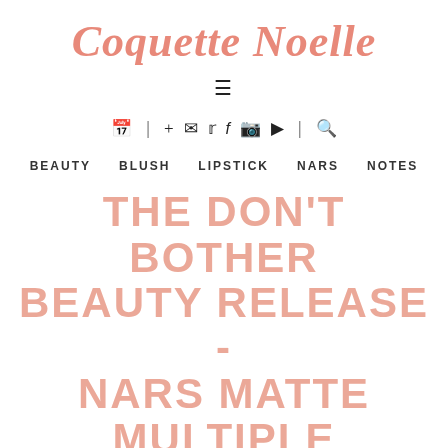Coquette Noelle
[Figure (other): Hamburger menu icon (three horizontal lines)]
[Figure (other): Icon bar with calendar, plus, email, twitter, facebook, instagram, youtube icons and search icon, separated by vertical bars]
BEAUTY   BLUSH   LIPSTICK   NARS   NOTES
THE DON'T BOTHER BEAUTY RELEASE - NARS MATTE MULTIPLE
WEDNESDAY, 7 MAY 2014